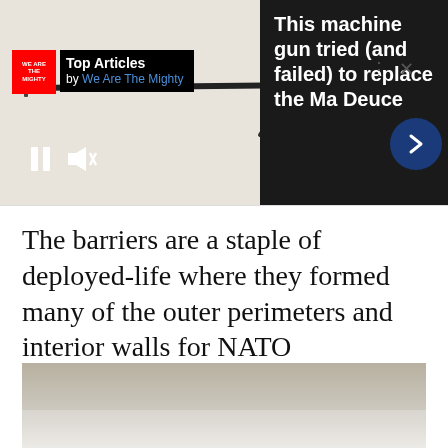[Figure (screenshot): Top Articles widget overlay on a gun diagram image, showing 'We Are The Mighty' logo and Top Articles header with blue link text, pause/mute controls, arrow navigation button, dots and X controls]
This machine gun tried (and failed) to replace the Ma Deuce
Right and Left Side View.
Fig. 1
The barriers are a staple of deployed-life where they formed many of the outer perimeters and interior walls for NATO installations.
[Figure (photo): Bottom portion of a photo showing a tan/beige surface with reflection below, partially visible]